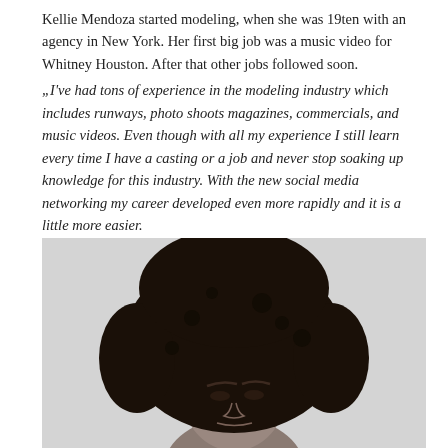Kellie Mendoza started modeling, when she was 19ten with an agency in New York. Her first big job was a music video for Whitney Houston. After that other jobs followed soon. „I've had tons of experience in the modeling industry which includes runways, photo shoots magazines, commercials, and music videos. Even though with all my experience I still learn every time I have a casting or a job and never stop soaking up knowledge for this industry. With the new social media networking my career developed even more rapidly and it is a little more easier. Besides modeling I'm a full-time mom. So if I'm not modeling or at an audition I'm probably making breakfast, lunch and dinner, walking my dog and cleaning the house."
[Figure (photo): Black and white portrait photo of a woman with a large natural afro hairstyle, facing slightly downward, cropped to show head and top of shoulders against a light background.]